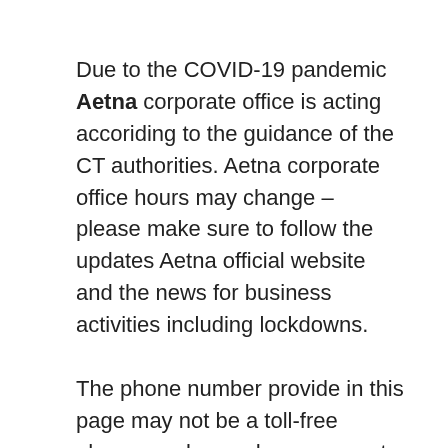Due to the COVID-19 pandemic Aetna corporate office is acting accoriding to the guidance of the CT authorities. Aetna corporate office hours may change – please make sure to follow the updates Aetna official website and the news for business activities including lockdowns.
The phone number provide in this page may not be a toll-free phone number and you may get charged while calling this number at the usual calling prices according to your operator. This Aetna corporate office number